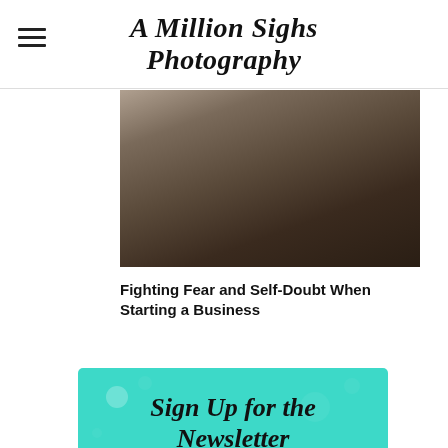A Million Sighs Photography
[Figure (photo): Partial photo showing dark clothing and tree bark or rock texture in dark browns]
Fighting Fear and Self-Doubt When Starting a Business
[Figure (infographic): Teal/turquoise newsletter signup box with bubble decorations, heading 'Sign Up for the Newsletter' and subtext 'Get daily tips, freebies, and advice delivered to your inbox every week.']